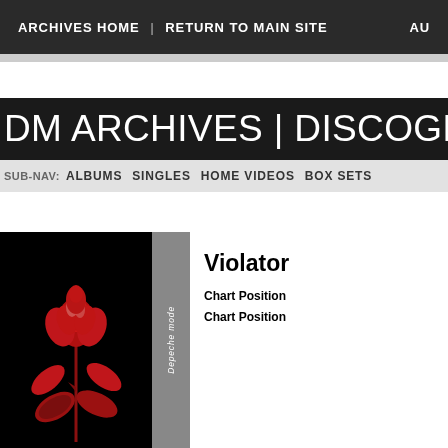ARCHIVES HOME | RETURN TO MAIN SITE  AU
DM ARCHIVES | DISCOGRAPH
SUB-NAV: ALBUMS  SINGLES  HOME VIDEOS  BOX SETS
[Figure (photo): Depeche Mode Violator album cover showing a red rose on a black background, with Depeche Mode logo sidebar]
Violator
Chart Position
Chart Position